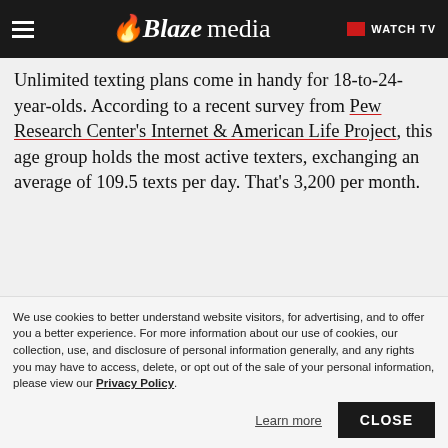Blaze media — WATCH TV
Unlimited texting plans come in handy for 18-to-24-year-olds. According to a recent survey from Pew Research Center's Internet & American Life Project, this age group holds the most active texters, exchanging an average of 109.5 texts per day. That's 3,200 per month.
[Figure (photo): Image placeholder with broken image icon]
We use cookies to better understand website visitors, for advertising, and to offer you a better experience. For more information about our use of cookies, our collection, use, and disclosure of personal information generally, and any rights you may have to access, delete, or opt out of the sale of your personal information, please view our Privacy Policy.